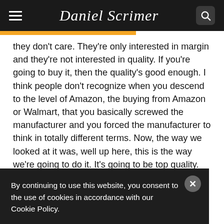Daniel Scrimer
they don't care. They're only interested in margin and they're not interested in quality. If you're going to buy it, then the quality's good enough. I think people don't recognize when you descend to the level of Amazon, the buying from Amazon or Walmart, that you basically screwed the manufacturer and you forced the manufacturer to think in totally different terms. Now, the way we looked at it was, well up here, this is the way we're going to do it. It's going to be top quality. I'm not selling through Amazon or Walmart or anything like that.
By continuing to use this website, you consent to the use of cookies in accordance with our Cookie Policy.
ld make the case. But for a lot of companies, they don't make that